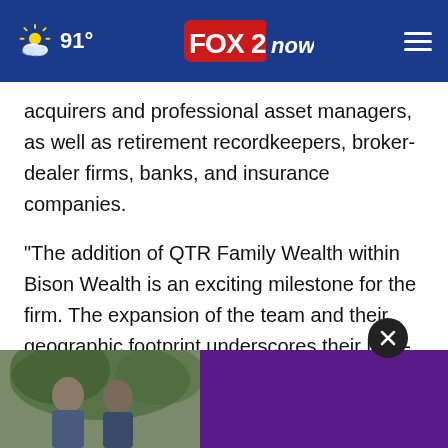91° FOX 2 now
acquirers and professional asset managers, as well as retirement recordkeepers, broker-dealer firms, banks, and insurance companies.
"The addition of QTR Family Wealth within Bison Wealth is an exciting milestone for the firm. The expansion of the team and their geographic footprint underscores their long-term commitment to increasing their clients' accessibility to wealth management solutions," said D[...] ly Officer. [...] Fidelity [...]
[Figure (photo): Advertisement overlay at bottom of page: two men outdoors on the left side, purple/dark panel on the right side, with a close (X) button]